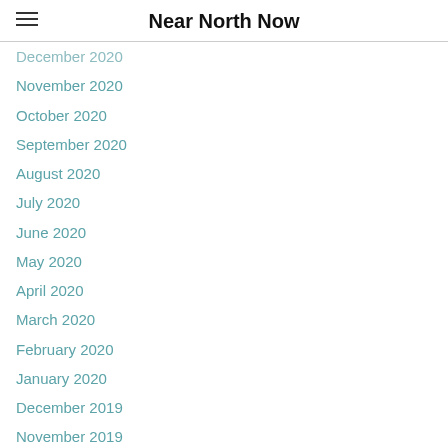Near North Now
December 2020
November 2020
October 2020
September 2020
August 2020
July 2020
June 2020
May 2020
April 2020
March 2020
February 2020
January 2020
December 2019
November 2019
October 2019
September 2019
August 2019
July 2019